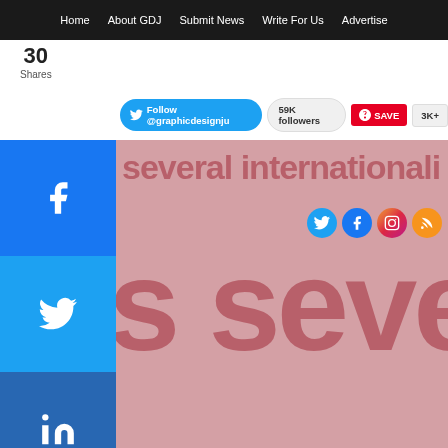Home | About GDJ | Submit News | Write For Us | Advertise
[Figure (screenshot): Social share sidebar with Facebook, Twitter, LinkedIn, Pinterest buttons and a + more button. Share count shows 30 Shares.]
[Figure (screenshot): Twitter follow bar: Follow @graphicdesignju, 59K followers, Pinterest SAVE, 3K+]
[Figure (screenshot): Article hero image showing large pink/mauve text reading 'several internationally' and 's seve' in very large letters on a pinkish background, with social icons (Twitter, Facebook, Instagram, RSS) overlaid]
one
[Figure (screenshot): Yellow/orange section showing large white 'aaaa' letters, accent characters 'áâäàåå~', italic slanted 'f', and descriptive text about Mentone font: 'Mentone™ is a new general purpose attempt at extending the line of the g of the previous century, Frutiger-Sto... The font has round corners and subt... which are all but invisible at text su... upbeat, irreverent expression at dis...']